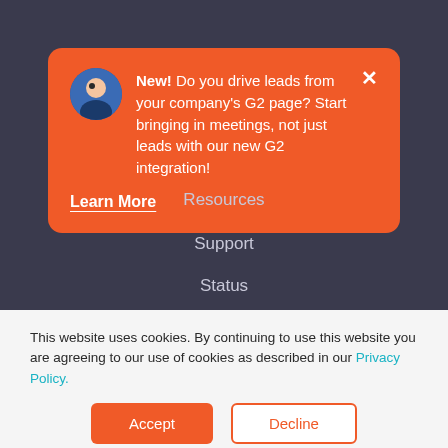[Figure (screenshot): Orange notification card with avatar, text about G2 integration, and Learn More link, on dark background with navigation items Resources, Support, Status]
New! Do you drive leads from your company's G2 page? Start bringing in meetings, not just leads with our new G2 integration!
Learn More
Resources
Support
Status
This website uses cookies. By continuing to use this website you are agreeing to our use of cookies as described in our Privacy Policy.